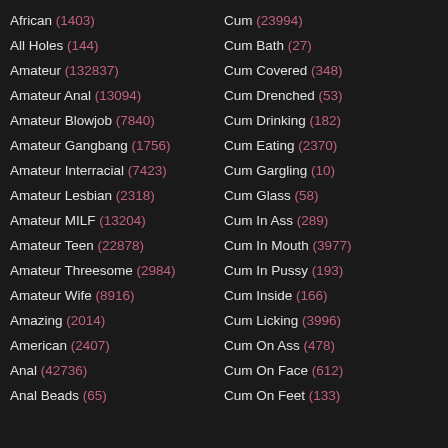African (1403)
All Holes (144)
Amateur (132837)
Amateur Anal (13094)
Amateur Blowjob (7840)
Amateur Gangbang (1756)
Amateur Interracial (7423)
Amateur Lesbian (2318)
Amateur MILF (13204)
Amateur Teen (22878)
Amateur Threesome (2984)
Amateur Wife (8916)
Amazing (2014)
American (2407)
Anal (42736)
Anal Beads (65)
Cum (23994)
Cum Bath (27)
Cum Covered (348)
Cum Drenched (53)
Cum Drinking (182)
Cum Eating (2370)
Cum Gargling (10)
Cum Glass (58)
Cum In Ass (289)
Cum In Mouth (3977)
Cum In Pussy (193)
Cum Inside (166)
Cum Licking (3996)
Cum On Ass (478)
Cum On Face (612)
Cum On Feet (133)